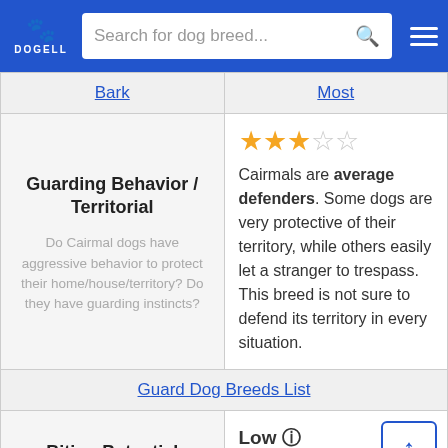DOGELL | Search for dog breed...
| Bark | Most |
| --- | --- |
| Guarding Behavior / Territorial
Do Cairmal dogs have aggressive behavior to protect their home/house/territory? Do they have guarding instincts? | ★★★☆☆
Cairmals are average defenders. Some dogs are very protective of their territory, while others easily let a stranger to trespass. This breed is not sure to defend its territory in every situation. |
| Guard Dog Breeds List |  |
| Biting Potential | Low ℹ
The Cairmal has a low |